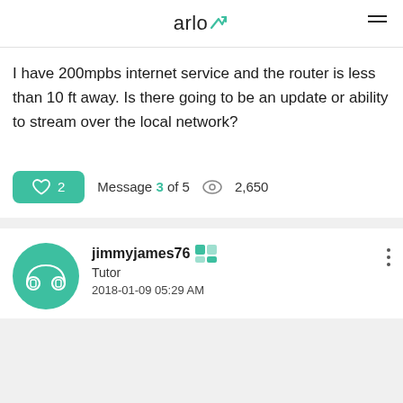arlo
I have 200mpbs internet service and the router is less than 10 ft away. Is there going to be an update or ability to stream over the local network?
♡ 2  Message 3 of 5  👁 2,650
jimmyjames76  Tutor  2018-01-09 05:29 AM